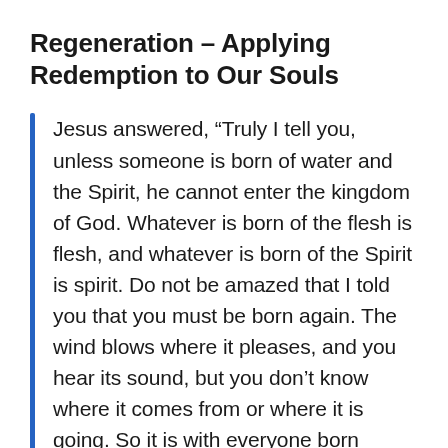Regeneration – Applying Redemption to Our Souls
Jesus answered, “Truly I tell you, unless someone is born of water and the Spirit, he cannot enter the kingdom of God. Whatever is born of the flesh is flesh, and whatever is born of the Spirit is spirit. Do not be amazed that I told you that you must be born again. The wind blows where it pleases, and you hear its sound, but you don’t know where it comes from or where it is going. So it is with everyone born